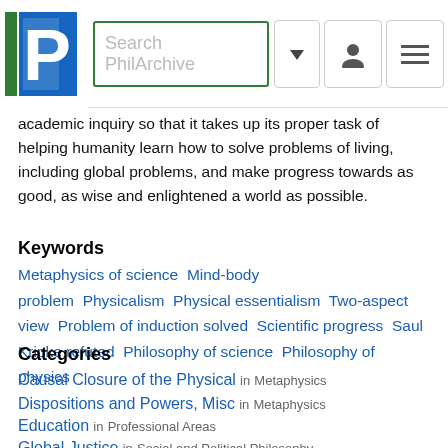[Figure (logo): PhilArchive logo with blue P letter and green bar, with search bar and navigation icons]
academic inquiry so that it takes up its proper task of helping humanity learn how to solve problems of living, including global problems, and make progress towards as good, as wise and enlightened a world as possible.
Keywords
Metaphysics of science  Mind-body problem  Physicalism  Physical essentialism  Two-aspect view  Problem of induction solved  Scientific progress  Saul Kripke refuted  Philosophy of science  Philosophy of physics
Categories
Causal Closure of the Physical in Metaphysics
Dispositions and Powers, Misc in Metaphysics
Education in Professional Areas
Global Justice in Social and Political Philosophy
Mind-Body Problem, General in Philosophy of Mind
Philosophy of Physics, Misc in Philosophy of Physical Science
Philosophy of Science, Miscellaneous in Philosophy of Science, Misc